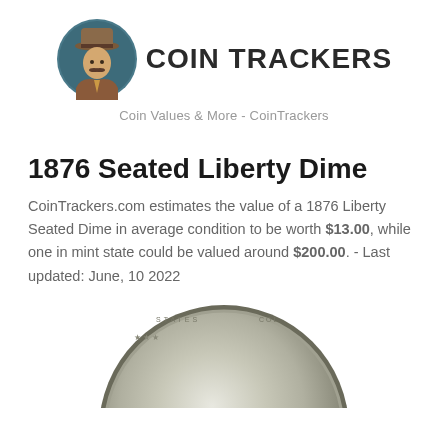[Figure (logo): Coin Trackers logo with illustrated detective character in brown coat and hat alongside bold text reading COIN TRACKERS]
Coin Values & More - CoinTrackers
1876 Seated Liberty Dime
CoinTrackers.com estimates the value of a 1876 Liberty Seated Dime in average condition to be worth $13.00, while one in mint state could be valued around $200.00. - Last updated: June, 10 2022
[Figure (photo): Close-up photo of the obverse of an 1876 Seated Liberty Dime coin showing silver coin with Liberty seated figure]